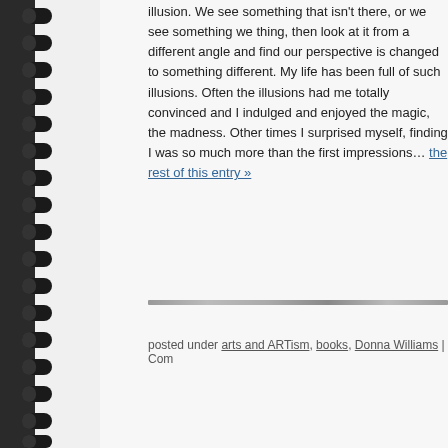illusion. We see something that isn't there, or we see something we think is one thing, then look at it from a different angle and find our perspective is changed to something different. My life has been full of such illusions. Often the illusions had me totally convinced and I indulged and enjoyed the magic, the madness. Other times I surprised myself, finding I was so much more than the first impressions suggested. read the rest of this entry »
posted under arts and ARTism, books, Donna Williams | Com
[Figure (illustration): Handwritten cursive text reading '← OLDER' as a navigation link on notebook page]
[Figure (illustration): Colorful psychedelic floral/swirl decoration in bottom-left corner with teal background, handwritten 'WHAT IS THIS PLACE?' text, and a nature photo panel]
[Figure (illustration): RSS feed orange icon/badge]